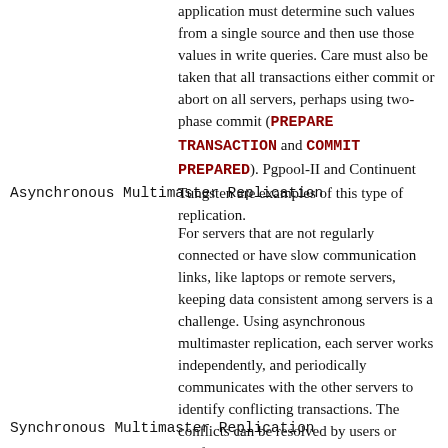application must determine such values from a single source and then use those values in write queries. Care must also be taken that all transactions either commit or abort on all servers, perhaps using two-phase commit (PREPARE TRANSACTION and COMMIT PREPARED). Pgpool-II and Continuent Tungsten are examples of this type of replication.
Asynchronous Multimaster Replication
For servers that are not regularly connected or have slow communication links, like laptops or remote servers, keeping data consistent among servers is a challenge. Using asynchronous multimaster replication, each server works independently, and periodically communicates with the other servers to identify conflicting transactions. The conflicts can be resolved by users or conflict resolution rules. Bucardo is an example of this type of replication.
Synchronous Multimaster Replication